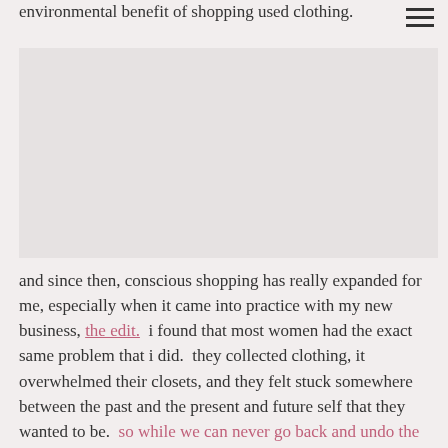environmental benefit of shopping used clothing.
[Figure (photo): A partially visible photo/image, faded, occupying the middle section of the page.]
and since then, conscious shopping has really expanded for me, especially when it came into practice with my new business, the edit.  i found that most women had the exact same problem that i did.  they collected clothing, it overwhelmed their closets, and they felt stuck somewhere between the past and the present and future self that they wanted to be.  so while we can never go back and undo the mistakes of overbuying in the past, that's really not the point.  we did it and we weren't aware of what we were doing.  but now, once a safe framework was created to